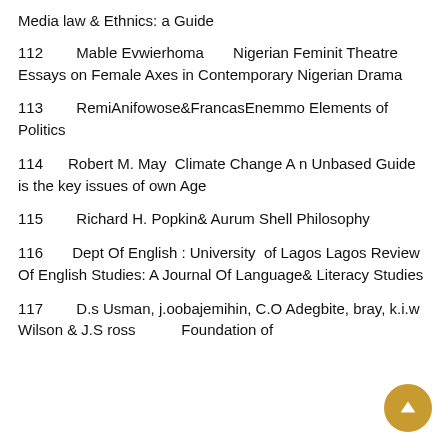Media law & Ethnics: a Guide
112    Mable Evwierhoma    Nigerian Feminit Theatre Essays on Female Axes in Contemporary Nigerian Drama
113    RemiAnifowose&FrancasEnemmo Elements of Politics
114    Robert M. May  Climate Change A n Unbased Guide is the key issues of own Age
115    Richard H. Popkin& Aurum Shell Philosophy
116    Dept Of English : University  of Lagos Lagos Review Of English Studies: A Journal Of Language& Literacy Studies
117    D.s Usman, j.oobajemihin, C.O Adegbite, bray, k.i.w Wilson & J.S ross         Foundation of